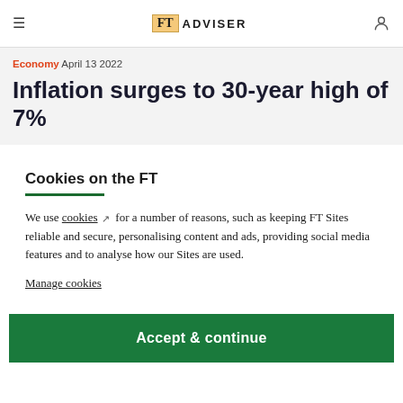FT ADVISER
Economy April 13 2022
Inflation surges to 30-year high of 7%
Cookies on the FT
We use cookies for a number of reasons, such as keeping FT Sites reliable and secure, personalising content and ads, providing social media features and to analyse how our Sites are used.
Manage cookies
Accept & continue